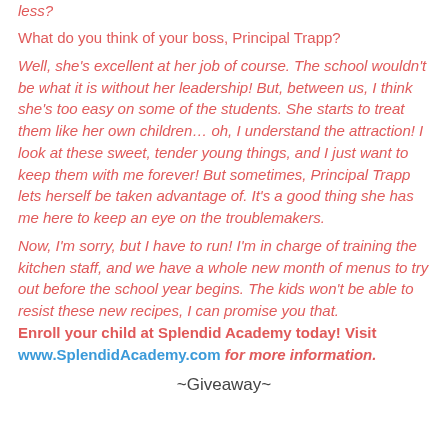less?
What do you think of your boss, Principal Trapp?
Well, she's excellent at her job of course. The school wouldn't be what it is without her leadership! But, between us, I think she's too easy on some of the students. She starts to treat them like her own children… oh, I understand the attraction! I look at these sweet, tender young things, and I just want to keep them with me forever! But sometimes, Principal Trapp lets herself be taken advantage of. It's a good thing she has me here to keep an eye on the troublemakers.
Now, I'm sorry, but I have to run! I'm in charge of training the kitchen staff, and we have a whole new month of menus to try out before the school year begins. The kids won't be able to resist these new recipes, I can promise you that. Enroll your child at Splendid Academy today! Visit www.SplendidAcademy.com for more information.
~Giveaway~